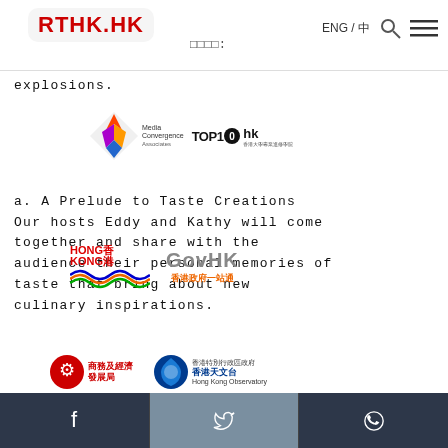RTHK.HK | ENG / [Chinese] | Search | Menu
explosions.
a. A Prelude to Taste Creations Our hosts Eddy and Kathy will come together and share with the audience their personal memories of taste that bring about new culinary inspirations.
b. The Taste Studio Our host Eddy and guest chef will be forming new culinary insights together in relation to the featured taste of each episode to create special dishes of their own.
Facebook | Twitter | WhatsApp